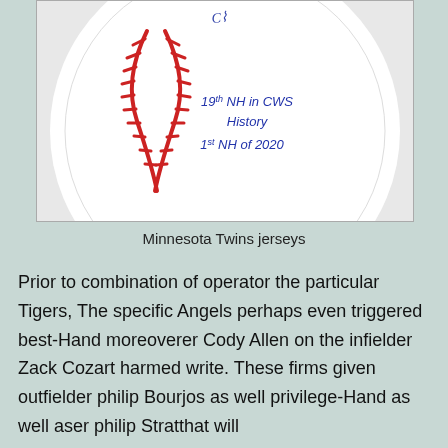[Figure (photo): A signed baseball with handwritten inscription reading '19th NH in CWS History 1st NH of 2020' along with a signature at the top]
Minnesota Twins jerseys
Prior to combination of operator the particular Tigers, The specific Angels perhaps even triggered best-Hand moreoverer Cody Allen on the infielder Zack Cozart harmed write. These firms given outfielder philip Bourjos as well privilege-Hand as well aser philip Stratthat will